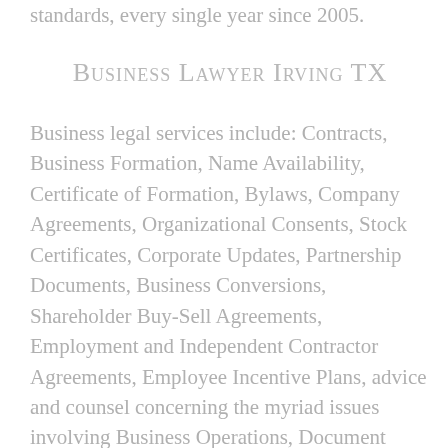standards, every single year since 2005.
Business Lawyer Irving TX
Business legal services include: Contracts, Business Formation, Name Availability, Certificate of Formation, Bylaws, Company Agreements, Organizational Consents, Stock Certificates, Corporate Updates, Partnership Documents, Business Conversions, Shareholder Buy-Sell Agreements, Employment and Independent Contractor Agreements, Employee Incentive Plans, advice and counsel concerning the myriad issues involving Business Operations, Document Preparation and Review,